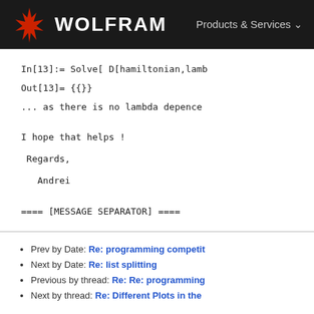WOLFRAM  Products & Services
In[13]:= Solve[ D[hamiltonian,lamb
Out[13]= {{}}
... as there is no lambda depence

I hope that helps !

 Regards,

   Andrei

==== [MESSAGE SEPARATOR] ====
Prev by Date: Re: programming competit
Next by Date: Re: list splitting
Previous by thread: Re: Re: programming
Next by thread: Re: Different Plots in the